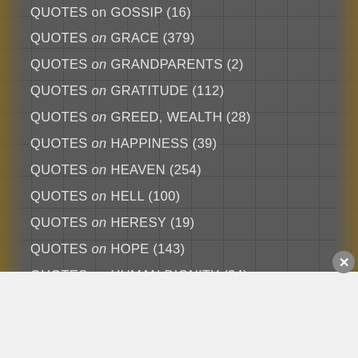QUOTES on GOSSIP (16)
QUOTES on GRACE (379)
QUOTES on GRANDPARENTS (2)
QUOTES on GRATITUDE (112)
QUOTES on GREED, WEALTH (28)
QUOTES on HAPPINESS (39)
QUOTES on HEAVEN (254)
QUOTES on HELL (100)
QUOTES on HERESY (19)
QUOTES on HOPE (143)
QUOTES on HUMAN DIGNITY (34)
[Figure (photo): Victoria's Secret advertisement banner with woman model and pink background, showing SHOP THE COLLECTION and SHOP NOW button]
Advertisements